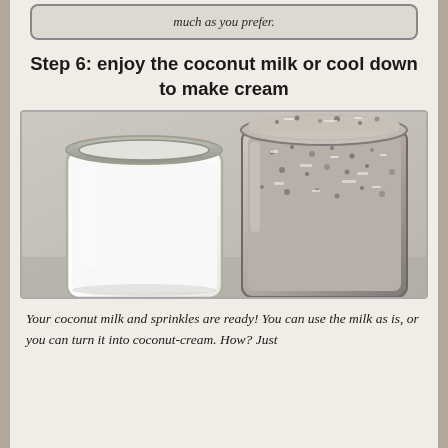much as you prefer.
Step 6: enjoy the coconut milk or cool down to make cream
[Figure (photo): Two glass jars side by side — one containing white coconut milk and one filled with shredded coconut flakes/sprinkles.]
Your coconut milk and sprinkles are ready! You can use the milk as is, or you can turn it into coconut-cream. How? Just